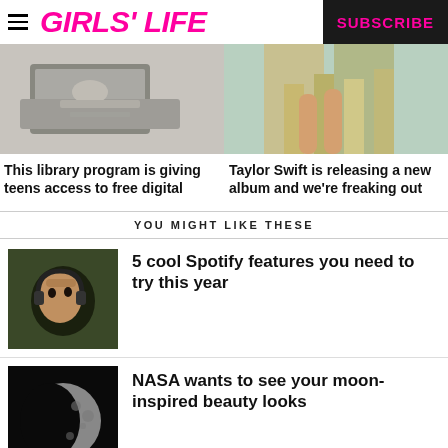GIRLS' LIFE | SUBSCRIBE
[Figure (photo): Photo of hands on a laptop/tablet on a desk]
[Figure (photo): Photo of person's legs near neon/colorful background]
This library program is giving teens access to free digital
Taylor Swift is releasing a new album and we're freaking out
YOU MIGHT LIKE THESE
[Figure (photo): Photo of a girl with headphones looking at camera]
5 cool Spotify features you need to try this year
[Figure (photo): Photo of the moon against black sky]
NASA wants to see your moon-inspired beauty looks